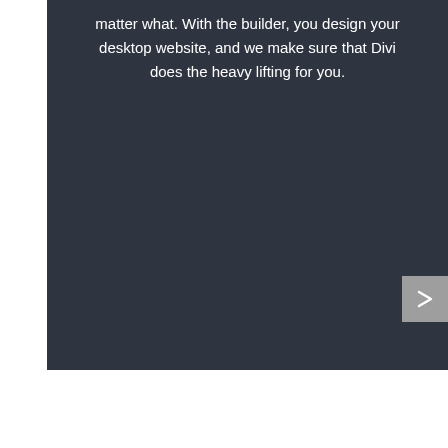matter what. With the builder, you design your desktop website, and we make sure that Divi does the heavy lifting for you.
[Figure (screenshot): Navigation arrow button (right-pointing checkmark/arrow icon) on a grey square background, positioned at the bottom-right of a dark panel]